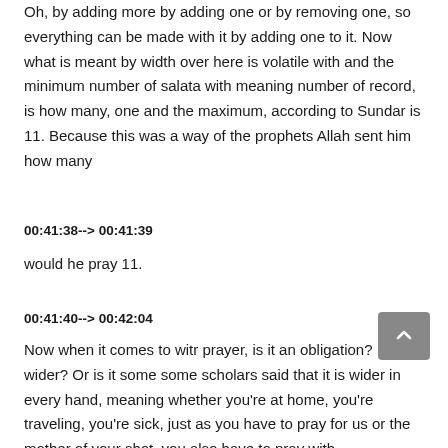Oh, by adding more by adding one or by removing one, so everything can be made with it by adding one to it. Now what is meant by width over here is volatile with and the minimum number of salata with meaning number of record, is how many, one and the maximum, according to Sundar is 11. Because this was a way of the prophets Allah sent him how many
00:41:38--> 00:41:39
would he pray 11.
00:41:40--> 00:42:04
Now when it comes to witr prayer, is it an obligation? Is it wider? Or is it some some scholars said that it is wider in every hand, meaning whether you're at home, you're traveling, you're sick, just as you have to pray for us or the mother of your shot, you also have to pray with